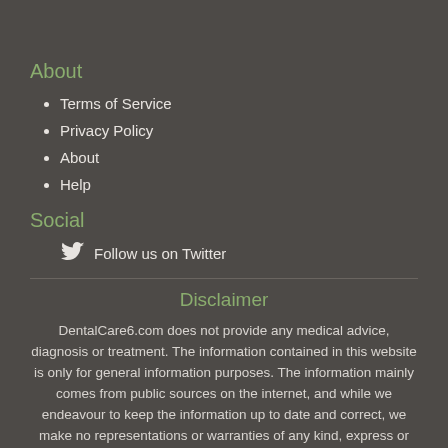About
Terms of Service
Privacy Policy
About
Help
Social
Follow us on Twitter
Disclaimer
DentalCare6.com does not provide any medical advice, diagnosis or treatment. The information contained in this website is only for general information purposes. The information mainly comes from public sources on the internet, and while we endeavour to keep the information up to date and correct, we make no representations or warranties of any kind, express or implied, about the completeness, accuracy, reliability